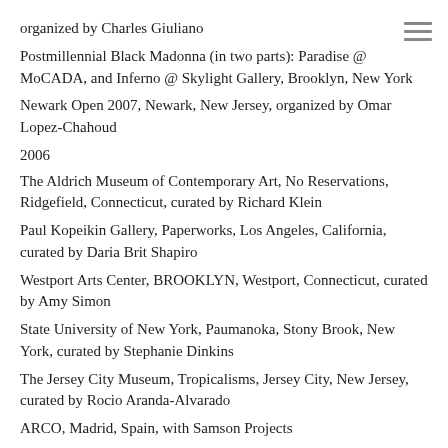organized by Charles Giuliano
Postmillennial Black Madonna (in two parts): Paradise @ MoCADA, and Inferno @ Skylight Gallery, Brooklyn, New York
Newark Open 2007, Newark, New Jersey, organized by Omar Lopez-Chahoud
2006
The Aldrich Museum of Contemporary Art, No Reservations, Ridgefield, Connecticut, curated by Richard Klein
Paul Kopeikin Gallery, Paperworks, Los Angeles, California, curated by Daria Brit Shapiro
Westport Arts Center, BROOKLYN, Westport, Connecticut, curated by Amy Simon
State University of New York, Paumanoka, Stony Brook, New York, curated by Stephanie Dinkins
The Jersey City Museum, Tropicalisms, Jersey City, New Jersey, curated by Rocio Aranda-Alvarado
ARCO, Madrid, Spain, with Samson Projects
MACO Art Fair, Mexico City, Mexico with Samson Projects
2005
Le Désert de Retz, Massimo Audiello, New York, New York, curated by